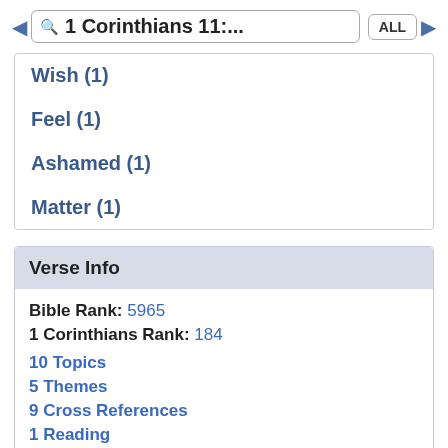1 Corinthians 11:... ALL
Wish (1)
Feel (1)
Ashamed (1)
Matter (1)
Verse Info
Bible Rank: 5965
1 Corinthians Rank: 184
10 Topics
5 Themes
9 Cross References
1 Reading
Interlinear